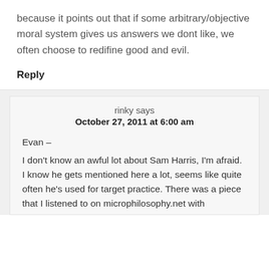because it points out that if some arbitrary/objective moral system gives us answers we dont like, we often choose to redifine good and evil.
Reply
rinky says
October 27, 2011 at 6:00 am
Evan –
I don't know an awful lot about Sam Harris, I'm afraid. I know he gets mentioned here a lot, seems like quite often he's used for target practice. There was a piece that I listened to on microphilosophy.net with